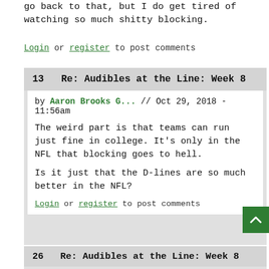go back to that, but I do get tired of watching so much shitty blocking.
Login or register to post comments
13   Re: Audibles at the Line: Week 8
by Aaron Brooks G... // Oct 29, 2018 - 11:56am
The weird part is that teams can run just fine in college. It's only in the NFL that blocking goes to hell.
Is it just that the D-lines are so much better in the NFL?
Login or register to post comments
26   Re: Audibles at the Line: Week 8